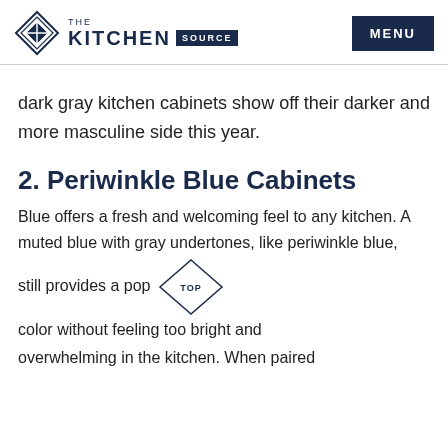THE KITCHEN SOURCE | MENU
dark gray kitchen cabinets show off their darker and more masculine side this year.
2. Periwinkle Blue Cabinets
Blue offers a fresh and welcoming feel to any kitchen. A muted blue with gray undertones, like periwinkle blue, still provides a pop color without feeling too bright and overwhelming in the kitchen. When paired